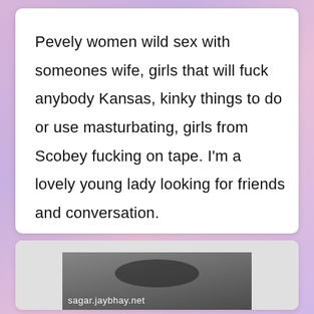Pevely women wild sex with someones wife, girls that will fuck anybody Kansas, kinky things to do or use masturbating, girls from Scobey fucking on tape. I'm a lovely young lady looking for friends and conversation.
[Figure (photo): Partial photo of a person, with watermark text 'sagar.jaybhay.net' at the bottom]